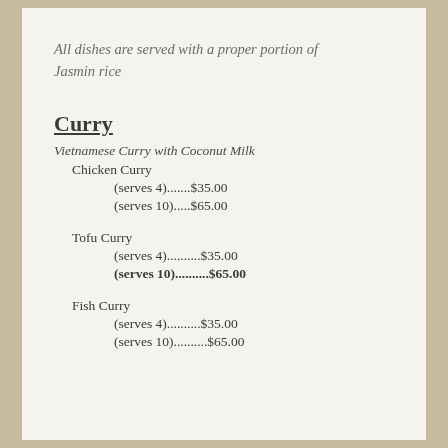All dishes are served with a proper portion of Jasmin rice
Curry
Vietnamese Curry with Coconut Milk
Chicken Curry
(serves 4).......$35.00
(serves 10).....$65.00
Tofu Curry
(serves 4)..........$35.00
(serves 10)..........$65.00
Fish Curry
(serves 4)..........$35.00
(serves 10)..........$65.00